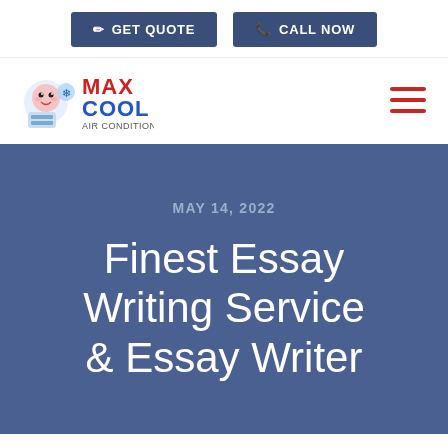GET QUOTE  CALL NOW
[Figure (logo): Max Cool Air Conditioning logo with cartoon mascot]
MAY 14, 2022
Finest Essay Writing Service & Essay Writer